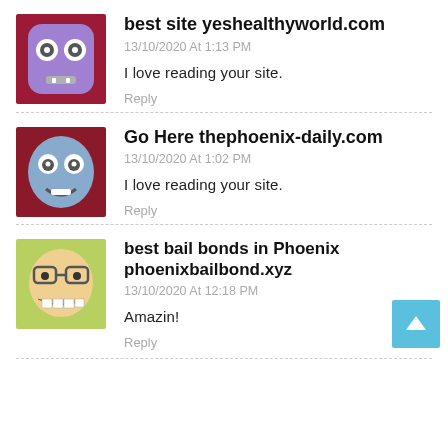[Figure (illustration): Avatar of a purple cartoon robot face with two circular eyes]
best site yeshealthyworld.com
13/10/2020 At 1:13 PM
I love reading your site.
Reply
[Figure (illustration): Avatar of a blue cartoon robot face with circular eyes on dark red background]
Go Here thephoenix-daily.com
13/10/2020 At 1:02 PM
I love reading your site.
Reply
[Figure (illustration): Avatar of a cartoon face with glasses and big teeth on green/yellow background]
best bail bonds in Phoenix phoenixbailbond.xyz
13/10/2020 At 12:18 PM
Amazin!
Reply